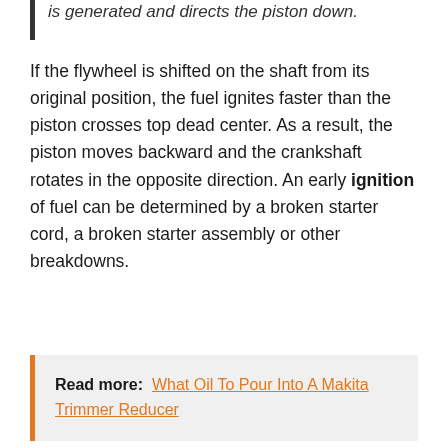is generated and directs the piston down.
If the flywheel is shifted on the shaft from its original position, the fuel ignites faster than the piston crosses top dead center. As a result, the piston moves backward and the crankshaft rotates in the opposite direction. An early ignition of fuel can be determined by a broken starter cord, a broken starter assembly or other breakdowns.
Read more: What Oil To Pour Into A Makita Trimmer Reducer